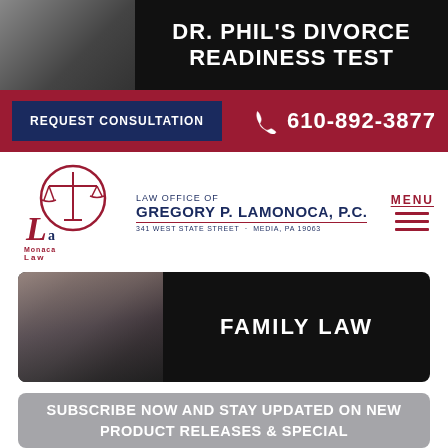[Figure (screenshot): Top banner with dark background showing partial photo of person and text 'DR. PHIL'S DIVORCE READINESS TEST' in bold white uppercase letters]
[Figure (screenshot): Dark red consultation bar with 'REQUEST CONSULTATION' navy button on left and phone icon with '610-892-3877' on right]
[Figure (logo): LaMonaca Law logo with scales of justice icon, law firm name 'LAW OFFICE OF GREGORY P. LAMONACA, P.C.' and address '341 WEST STATE STREET · MEDIA, PA 19063', with MENU hamburger icon on right]
[Figure (screenshot): Dark banner with partial family photo on left and 'FAMILY LAW' text in bold white uppercase on right]
SUBSCRIBE NOW AND STAY UPDATED ON NEW PRODUCT RELEASES & SPECIAL